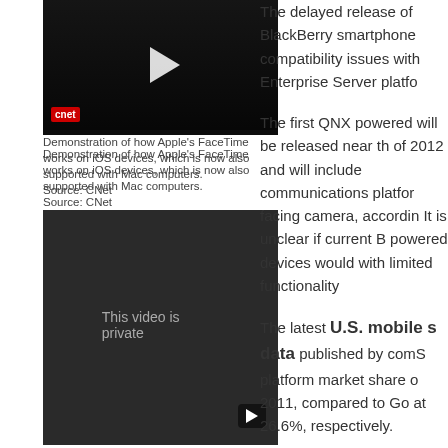[Figure (screenshot): Video thumbnail showing Apple FaceTime demonstration, dark background with play button and CNET logo]
Demonstration of how Apple’s FaceTime works on iOS devices, which is now also supported with Mac computers.
Source: CNet
[Figure (screenshot): Embedded video player showing 'This video is private' message with YouTube play button]
A look at the current BlackBerry Messenger service.
Source: RIM
[Figure (photo): Photo of a BlackBerry smartphone device]
The delayed release of BlackBerry smartphone compatibility issues with Enterprise Server platfo...
The first QNX powered will be released near th of 2012 and will include communications platfor facing camera, accordin It is unclear if current B powered devices would with limited functionality
The latest U.S. mobile s data published by comS platform market share o 2011, compared to Go at 26.6%, respectively.
RIM’s dated portfolio of consumers to competi...